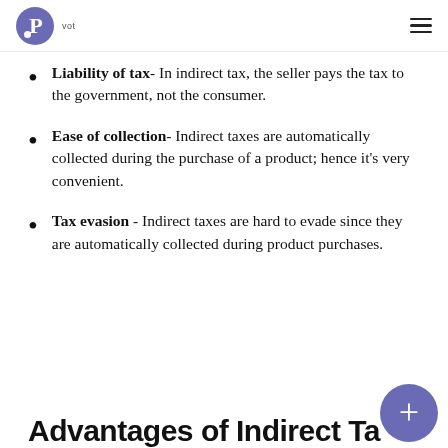Pvot
Liability of tax- In indirect tax, the seller pays the tax to the government, not the consumer.
Ease of collection- Indirect taxes are automatically collected during the purchase of a product; hence it's very convenient.
Tax evasion - Indirect taxes are hard to evade since they are automatically collected during product purchases.
Advantages of Indirect Ta